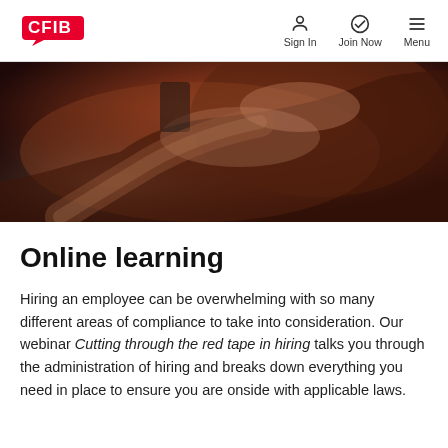CFIB | Sign In | Join Now | Menu
[Figure (photo): Close-up photo of a person's hand reaching toward or holding a smartphone/tablet, with a dark blurred background in warm brown/maroon tones]
Online learning
Hiring an employee can be overwhelming with so many different areas of compliance to take into consideration. Our webinar Cutting through the red tape in hiring talks you through the administration of hiring and breaks down everything you need in place to ensure you are onside with applicable laws.